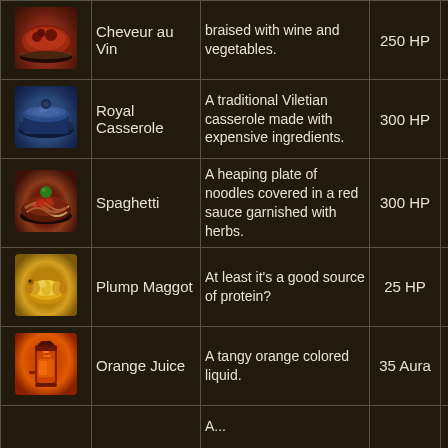| Icon | Name | Description | Effect | Cost |
| --- | --- | --- | --- | --- |
| [icon] | Cheveur au Vin | braised with wine and vegetables. | 250 HP | 650 |
| [icon] | Royal Casserole | A traditional Viletian casserole made with expensive ingredients. | 300 HP | 800 |
| [icon] | Spaghetti | A heaping plate of noodles covered in a red sauce garnished with herbs. | 300 HP | 600 |
| [icon] | Plump Maggot | At least it's a good source of protein? | 25 HP | 50^ |
| [icon] | Orange Juice | A tangy orange colored liquid. | 35 Aura | n/a |
| [icon] |  | A... |  |  |